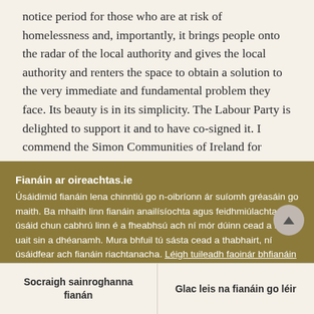notice period for those who are at risk of homelessness and, importantly, it brings people onto the radar of the local authority and gives the local authority and renters the space to obtain a solution to the very immediate and fundamental problem they face. Its beauty is in its simplicity. The Labour Party is delighted to support it and to have co-signed it. I commend the Simon Communities of Ireland for
Fianáin ar oireachtas.ie
Úsáidimid fianáin lena chinntiú go n-oibríonn ár suíomh gréasáin go maith. Ba mhaith linn fianáin anailísíochta agus feidhmiúlachta a úsáid chun cabhrú linn é a fheabhsú ach ní mór dúinn cead a fháil uait sin a dhéanamh. Mura bhfuil tú sásta cead a thabhairt, ní úsáidfear ach fianáin riachtanacha. Léigh tuileadh faoinár bhfianáin
Socraigh sainroghanna fianán
Glac leis na fianáin go léir